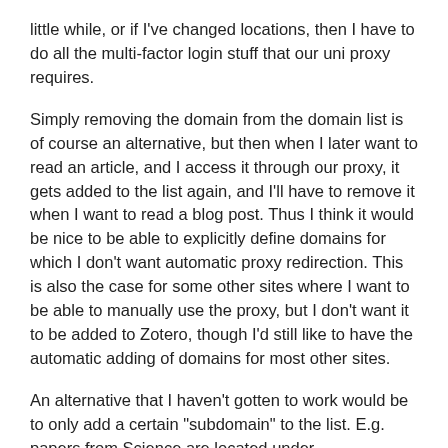little while, or if I've changed locations, then I have to do all the multi-factor login stuff that our uni proxy requires.
Simply removing the domain from the domain list is of course an alternative, but then when I later want to read an article, and I access it through our proxy, it gets added to the list again, and I'll have to remove it when I want to read a blog post. Thus I think it would be nice to be able to explicitly define domains for which I don't want automatic proxy redirection. This is also the case for some other sites where I want to be able to manually use the proxy, but I don't want it to be added to Zotero, though I'd still like to have the automatic adding of domains for most other sites.
An alternative that I haven't gotten to work would be to only add a certain "subdomain" to the list. E.g. papers from Science are located under science.com/doi/[DOI], while e.g. blogs are under science.com/content/[something], so if I could add only the first one to the list, that would be useful.